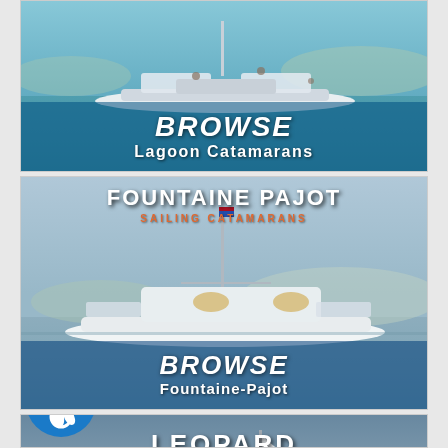[Figure (illustration): Advertisement banner for Lagoon Catamarans with photo of catamaran on water and white text overlay reading BROWSE Lagoon Catamarans]
[Figure (illustration): Advertisement banner for Fountaine Pajot Sailing Catamarans with photo of white catamaran on water, brand logo at top, and text overlay reading BROWSE Fountaine-Pajot]
[Figure (illustration): Advertisement banner for Leopard Catamarans with photo of catamaran sailboat, brand name at top, and an accessibility icon circle overlay at bottom left]